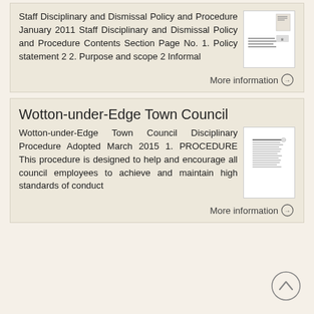Staff Disciplinary and Dismissal Policy and Procedure January 2011 Staff Disciplinary and Dismissal Policy and Procedure Contents Section Page No. 1. Policy statement 2 2. Purpose and scope 2 Informal
[Figure (screenshot): Thumbnail image of a document titled Staff Disciplinary and Dismissal Policy and Procedure]
More information →
Wotton-under-Edge Town Council
Wotton-under-Edge Town Council Disciplinary Procedure Adopted March 2015 1. PROCEDURE This procedure is designed to help and encourage all council employees to achieve and maintain high standards of conduct
[Figure (screenshot): Thumbnail image of Wotton-under-Edge Town Council Disciplinary Procedure document]
More information →